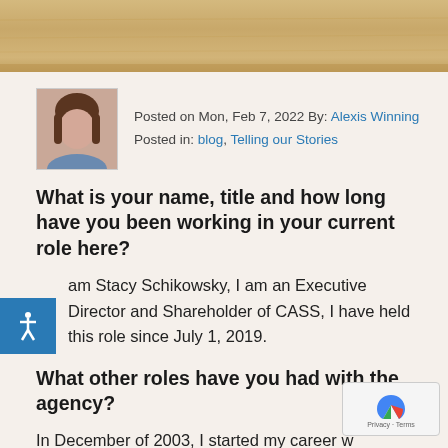[Figure (photo): Top portion of a wooden desk or furniture, cropped header image]
Posted on Mon, Feb 7, 2022 By: Alexis Winning
Posted in: blog, Telling our Stories
What is your name, title and how long have you been working in your current role here?
I am Stacy Schikowsky, I am an Executive Director and Shareholder of CASS, I have held this role since July 1, 2019.
What other roles have you had with the agency?
In December of 2003, I started my career with CASS as a Community Support Coordinator, then...